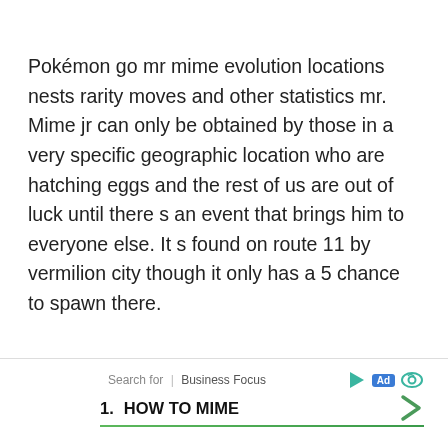Pokémon go mr mime evolution locations nests rarity moves and other statistics mr. Mime jr can only be obtained by those in a very specific geographic location who are hatching eggs and the rest of us are out of luck until there s an event that brings him to everyone else. It s found on route 11 by vermilion city though it only has a 5 chance to spawn there.
Search for | Business Focus  1. HOW TO MIME